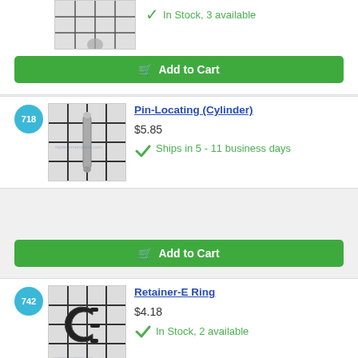[Figure (screenshot): Partial product image from previous card, showing top portion only]
In Stock, 3 available
Add to Cart
718
[Figure (photo): Photo of Pin-Locating (Cylinder) part, a thin silver cylindrical pin on grid background]
Pin-Locating (Cylinder)
$5.85
Ships in 5 - 11 business days
Add to Cart
742
[Figure (photo): Photo of Retainer-E Ring part, a black E-ring clip on grid background]
Retainer-E Ring
$4.18
In Stock, 2 available